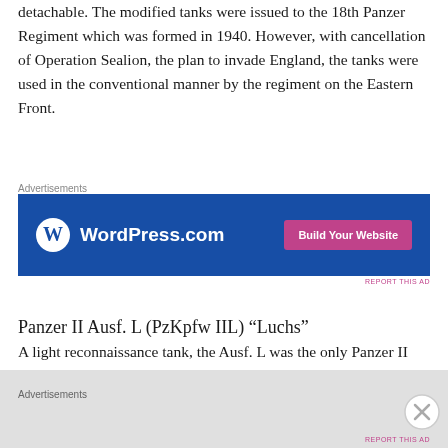detachable. The modified tanks were issued to the 18th Panzer Regiment which was formed in 1940. However, with cancellation of Operation Sealion, the plan to invade England, the tanks were used in the conventional manner by the regiment on the Eastern Front.
[Figure (other): WordPress.com advertisement banner with blue background, WordPress.com logo on left and 'Build Your Website' pink button on right]
Panzer II Ausf. L (PzKpfw IIL) “Luchs”
A light reconnaissance tank, the Ausf. L was the only Panzer II design with the overlapping/interleaved road wheels and “slack track” configuration to enter series production, with 100 being built from September 1943 to
Advertisements